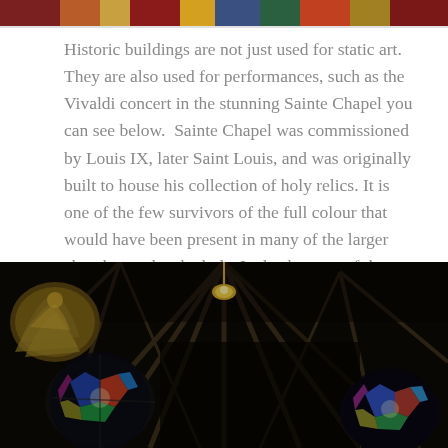[Figure (photo): Partial view of colorful stained glass windows or mosaic artwork in warm red, gold, and blue tones — top strip of image cropped at page top]
Historic buildings are not just used for static art. They are also used for performances, such as the Vivaldi concert in the stunning Sainte Chapel you can see below.  Sainte Chapel was commissioned by Louis IX, later Saint Louis, and was originally built to house his collection of holy relics. It is one of the few survivors of the full colour that would have been present in many of the larger churches and cathedrals. It also has one of the largest collections of 13th century stained glass.
[Figure (photo): Interior of Sainte-Chapelle showing Gothic vaulted ceiling ribs in dark tones, golden sculptural column capitals on the left, and colorful stained glass rose windows visible in background, photographed from below in dark dramatic lighting]